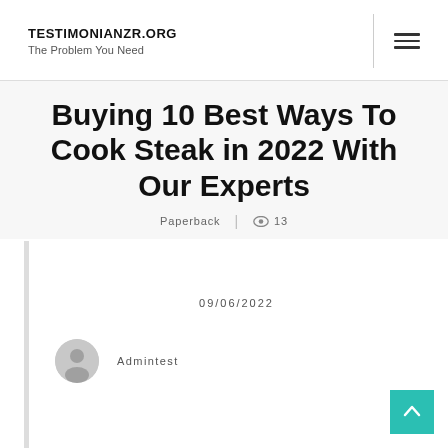TESTIMONIANZR.ORG
The Problem You Need
Buying 10 Best Ways To Cook Steak in 2022 With Our Experts
Paperback | 👁 13
09/06/2022
Admintest